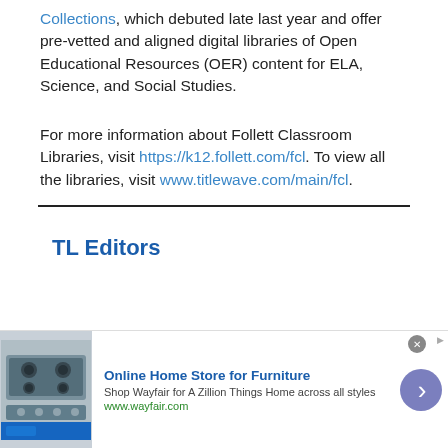Collections, which debuted late last year and offer pre-vetted and aligned digital libraries of Open Educational Resources (OER) content for ELA, Science, and Social Studies.
For more information about Follett Classroom Libraries, visit https://k12.follett.com/fcl. To view all the libraries, visit www.titlewave.com/main/fcl.
TL Editors
[Figure (other): Advertisement banner for Wayfair Online Home Store for Furniture. Shows kitchen appliance image, title 'Online Home Store for Furniture', subtitle 'Shop Wayfair for A Zillion Things Home across all styles', URL www.wayfair.com, and a navigation arrow button.]